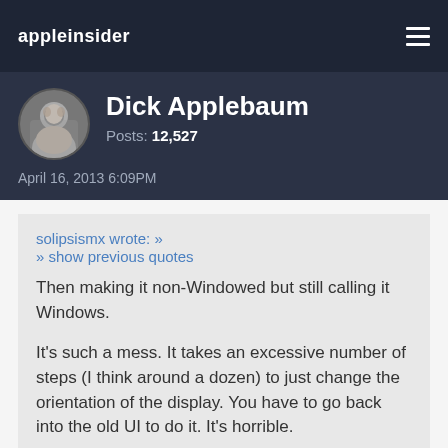appleinsider
Dick Applebaum
Posts: 12,527
April 16, 2013 6:09PM
solipsismx wrote: »
» show previous quotes

Then making it non-Windowed but still calling it Windows.

It's such a mess. It takes an excessive number of steps (I think around a dozen) to just change the orientation of the display. You have to go back into the old UI to do it. It's horrible.
So, what will happen to the "Win...", er, ah... "Tiles Everywhere" mantra?